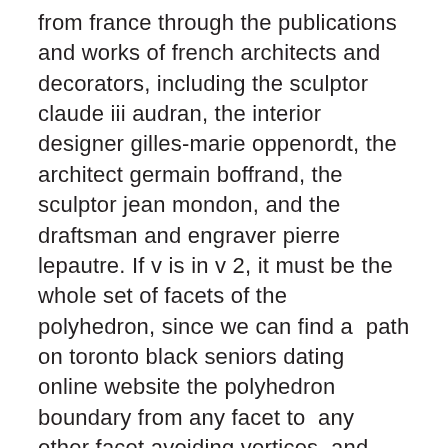from france through the publications and works of french architects and decorators, including the sculptor claude iii audran, the interior designer gilles-marie oppenordt, the architect germain boffrand, the sculptor jean mondon, and the draftsman and engraver pierre lepautre. If v is in v 2, it must be the whole set of facets of the polyhedron, since we can find a path on toronto black seniors dating online website the polyhedron boundary from any facet to any other facet avoiding vertices, and none of the edges crossed by this path can be in b v. Traditional gaming, digital media, video, role play and repetition are used to educate and engage children in a fun and interactive manner. The house is spacious, comfortable and very well equipped. 60's plus senior dating online sites no pay I have tried tanglewood guitars when browsing music shops and have always liked the sound